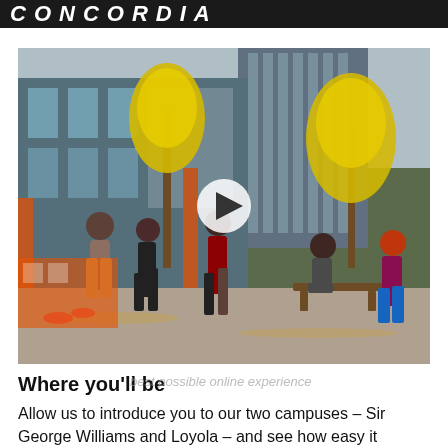CONCORDIA
[Figure (photo): Students walking and sitting on a university campus plaza in autumn, with yellow-leaved trees and modern glass buildings in the background. A video play button overlay is visible in the center.]
Where you'll be
Allow us to introduce you to our two campuses – Sir George Williams and Loyola – and see how easy it